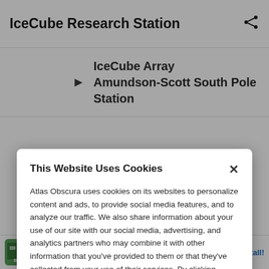IceCube Research Station
IceCube Array Amundson-Scott South Pole Station
This Website Uses Cookies
Atlas Obscura uses cookies on its websites to personalize content and ads, to provide social media features, and to analyze our traffic. We also share information about your use of our site with our social media, advertising, and analytics partners who may combine it with other information that you've provided to them or that they've collected from your use of their services. By clicking "Accept Cookies", you are consenting to use of cookies as described in our Cookie Policy. View Cookie Policy
Manage Preferences
Allow Cookies
BitLife – Life Simulator
Candywriter, LLC
Install!